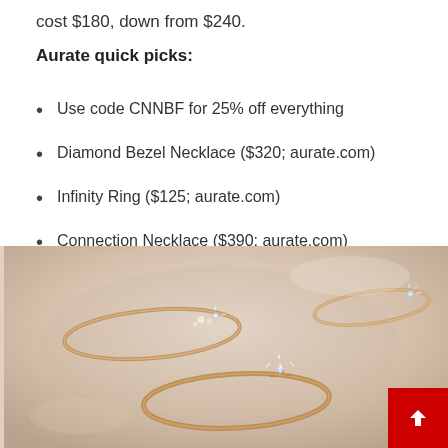cost $180, down from $240.
Aurate quick picks:
Use code CNNBF for 25% off everything
Diamond Bezel Necklace ($320; aurate.com)
Infinity Ring ($125; aurate.com)
Connection Necklace ($390; aurate.com)
[Figure (photo): Three delicate rose gold rings with small diamond or pearl accents arranged on a beige/cream background. The rings are thin band style, each featuring a tiny gemstone setting.]